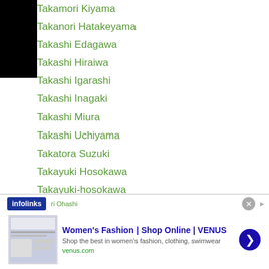Takamori Kiyama
Takanori Hatakeyama
Takashi Edagawa
Takashi Hiraiwa
Takashi Igarashi
Takashi Inagaki
Takashi Miura
Takashi Uchiyama
Takatora Suzuki
Takayuki Hosokawa
Takayuki-hosokawa
Takayuki Okumoto
Takayuki Sakai
Takehiro-shimokawara
Takehiro Shinohara
ri Ohashi
[Figure (screenshot): Advertisement banner: Women's Fashion | Shop Online | VENUS - venus.com]